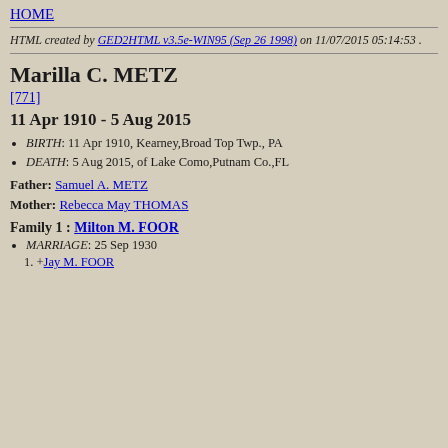HOME
HTML created by GED2HTML v3.5e-WIN95 (Sep 26 1998) on 11/07/2015 05:14:53 .
Marilla C. METZ
[771]
11 Apr 1910 - 5 Aug 2015
BIRTH: 11 Apr 1910, Kearney,Broad Top Twp., PA
DEATH: 5 Aug 2015, of Lake Como,Putnam Co.,FL
Father: Samuel A. METZ
Mother: Rebecca May THOMAS
Family 1 : Milton M. FOOR
MARRIAGE: 25 Sep 1930
1. +Jay M. FOOR